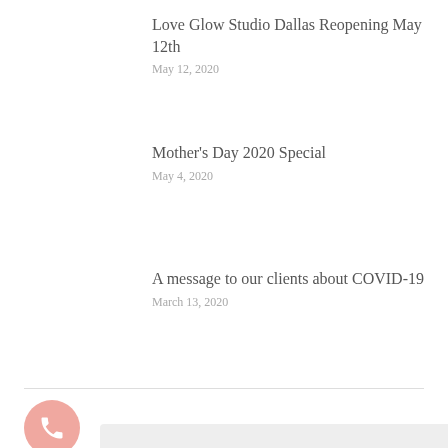Love Glow Studio Dallas Reopening May 12th
May 12, 2020
Mother's Day 2020 Special
May 4, 2020
A message to our clients about COVID-19
March 13, 2020